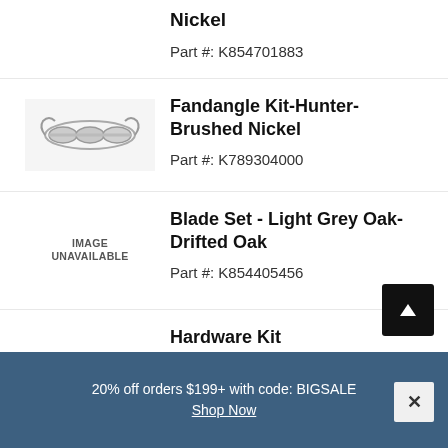Nickel
Part #: K854701883
[Figure (photo): Photo of a Fandangle Kit-Hunter-Brushed Nickel hardware piece]
Fandangle Kit-Hunter-Brushed Nickel
Part #: K789304000
IMAGE UNAVAILABLE
Blade Set - Light Grey Oak-Drifted Oak
Part #: K854405456
IMAGE UNAVAILABLE
Hardware Kit
Part #: K854100860
20% off orders $199+ with code: BIGSALE
Shop Now